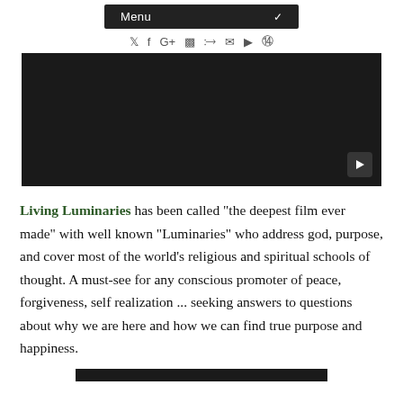Menu
[Figure (screenshot): Black video player with a play button in the bottom right corner]
Living Luminaries has been called "the deepest film ever made" with well known "Luminaries" who address god, purpose, and cover most of the world's religious and spiritual schools of thought. A must-see for any conscious promoter of peace, forgiveness, self realization ... seeking answers to questions about why we are here and how we can find true purpose and happiness.